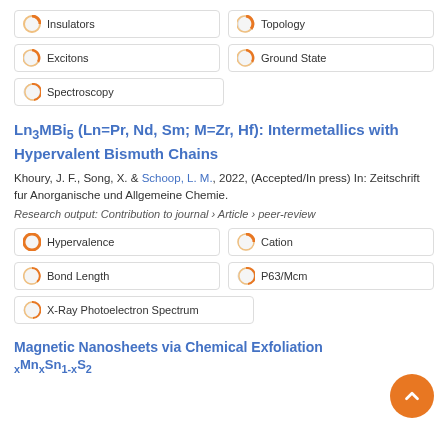Insulators
Topology
Excitons
Ground State
Spectroscopy
Ln₃MBi₅ (Ln=Pr, Nd, Sm; M=Zr, Hf): Intermetallics with Hypervalent Bismuth Chains
Khoury, J. F., Song, X. & Schoop, L. M., 2022, (Accepted/In press) In: Zeitschrift fur Anorganische und Allgemeine Chemie.
Research output: Contribution to journal › Article › peer-review
Hypervalence
Cation
Bond Length
P63/Mcm
X-Ray Photoelectron Spectrum
Magnetic Nanosheets via Chemical Exfoliation of xMnxSn1-xS2